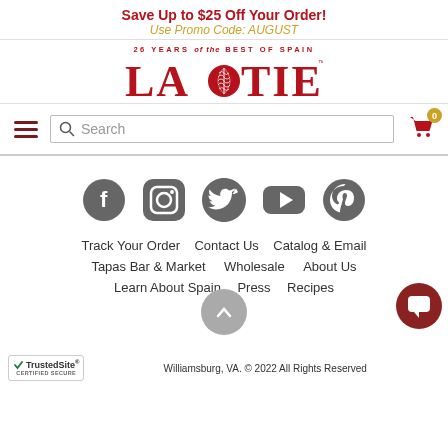Save Up to $25 Off Your Order!
Use Promo Code: AUGUST
[Figure (logo): La Tienda logo with tagline '26 YEARS of the BEST OF SPAIN' and a shell icon]
Search
[Figure (infographic): Social media icons: Facebook, Instagram, Twitter, YouTube, Pinterest]
Track Your Order
Contact Us
Catalog & Email
Tapas Bar & Market
Wholesale
About Us
Learn About Spain
Press
Recipes
Williamsburg, VA. © 2022 All Rights Reserved